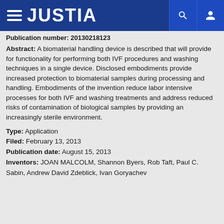JUSTIA
Publication number: 20130218123
Abstract: A biomaterial handling device is described that will provide for functionality for performing both IVF procedures and washing techniques in a single device. Disclosed embodiments provide increased protection to biomaterial samples during processing and handling. Embodiments of the invention reduce labor intensive processes for both IVF and washing treatments and address reduced risks of contamination of biological samples by providing an increasingly sterile environment.
Type: Application
Filed: February 13, 2013
Publication date: August 15, 2013
Inventors: JOAN MALCOLM, Shannon Byers, Rob Taft, Paul C. Sabin, Andrew David Zdeblick, Ivan Goryachev